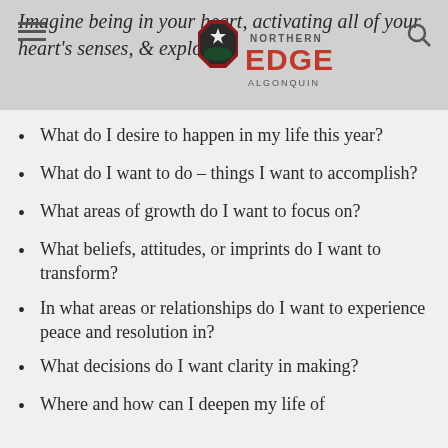Northern Edge Algonquin
Imagine being in your heart, activating all of your heart's senses, & exploring
What do I desire to happen in my life this year?
What do I want to do – things I want to accomplish?
What areas of growth do I want to focus on?
What beliefs, attitudes, or imprints do I want to transform?
In what areas or relationships do I want to experience peace and resolution in?
What decisions do I want clarity in making?
Where and how can I deepen my life of